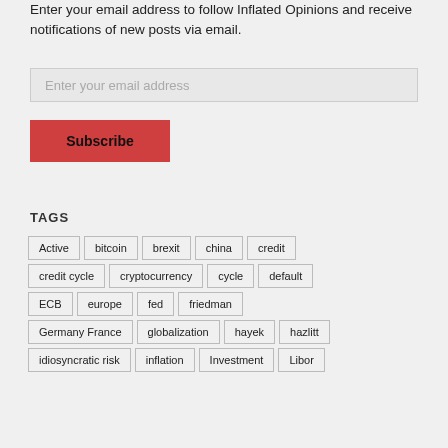Enter your email address to follow Inflated Opinions and receive notifications of new posts via email.
[Figure (other): Email input field with placeholder text 'Enter your email address']
[Figure (other): Red Subscribe button]
TAGS
Active
bitcoin
brexit
china
credit
credit cycle
cryptocurrency
cycle
default
ECB
europe
fed
friedman
Germany France
globalization
hayek
hazlitt
idiosyncratic risk
inflation
Investment
Libor